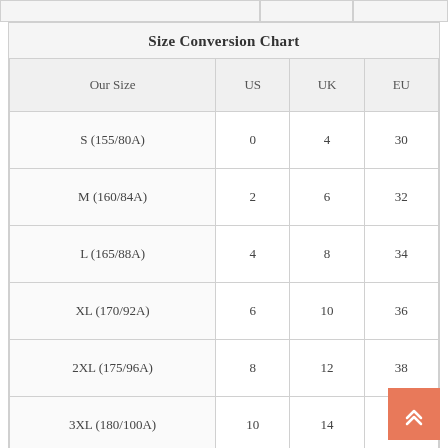| Our Size | US | UK | EU |
| --- | --- | --- | --- |
| S (155/80A) | 0 | 4 | 30 |
| M (160/84A) | 2 | 6 | 32 |
| L (165/88A) | 4 | 8 | 34 |
| XL (170/92A) | 6 | 10 | 36 |
| 2XL (175/96A) | 8 | 12 | 38 |
| 3XL (180/100A) | 10 | 14 | 40 |